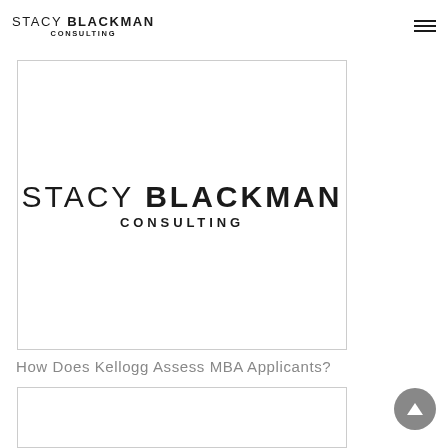STACY BLACKMAN CONSULTING
[Figure (logo): Stacy Blackman Consulting logo: text 'STACY BLACKMAN' with 'BLACKMAN' in bold, 'CONSULTING' in spaced capitals below, displayed inside a bordered card.]
How Does Kellogg Assess MBA Applicants?
[Figure (photo): Bottom image card, partially visible, content not shown.]